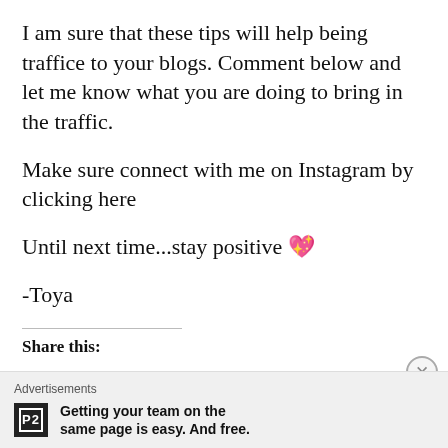I am sure that these tips will help being traffice to your blogs. Comment below and let me know what you are doing to bring in the traffic.
Make sure connect with me on Instagram by clicking here
Until next time...stay positive 💖
-Toya
Share this:
Advertisements
Getting your team on the same page is easy. And free.